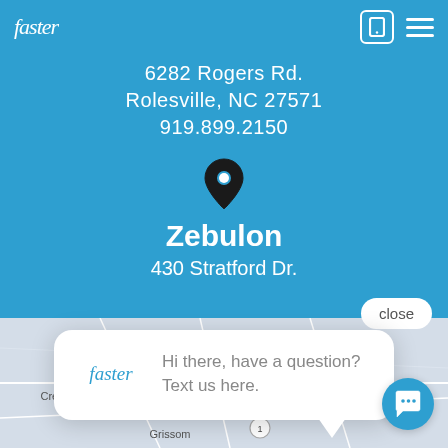Faster | mobile icon | menu icon
6282 Rogers Rd.
Rolesville, NC 27571
919.899.2150
[Figure (illustration): Map pin / location icon in dark color]
Zebulon
430 Stratford Dr.
close
[Figure (screenshot): Chat popup with Faster logo and text: Hi there, have a question? Text us here.]
[Figure (map): Road map showing Creedmoor, Wilton, Franklinton, Grissom, Louisbourg, with route markers 96, 401, 1]
[Figure (illustration): Chat bubble button icon in bottom right corner]